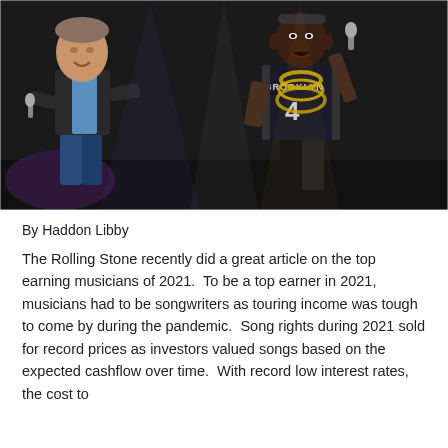[Figure (photo): Two musicians performing on stage. On the left, an older white man in a black vest and blue shirt holds a microphone. On the right, a Black man wearing a Brooklyn Nets #4 jersey and large gold chains raps into a microphone. Dark stage background.]
By Haddon Libby
The Rolling Stone recently did a great article on the top earning musicians of 2021.  To be a top earner in 2021, musicians had to be songwriters as touring income was tough to come by during the pandemic.  Song rights during 2021 sold for record prices as investors valued songs based on the expected cashflow over time.  With record low interest rates, the cost to